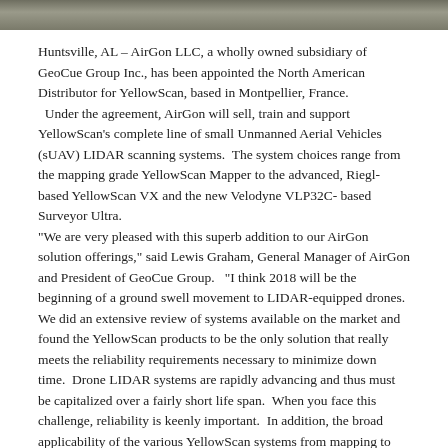[Figure (photo): Partial photo strip at top of page showing what appears to be a drone or UAV on a tripod/mount against a blurred outdoor background]
Huntsville, AL – AirGon LLC, a wholly owned subsidiary of GeoCue Group Inc., has been appointed the North American Distributor for YellowScan, based in Montpellier, France.  Under the agreement, AirGon will sell, train and support YellowScan’s complete line of small Unmanned Aerial Vehicles (sUAV) LIDAR scanning systems.  The system choices range from the mapping grade YellowScan Mapper to the advanced, Riegl-based YellowScan VX and the new Velodyne VLP32C- based Surveyor Ultra.
“We are very pleased with this superb addition to our AirGon solution offerings,” said Lewis Graham, General Manager of AirGon and President of GeoCue Group.  “I think 2018 will be the beginning of a ground swell movement to LIDAR-equipped drones.  We did an extensive review of systems available on the market and found the YellowScan products to be the only solution that really meets the reliability requirements necessary to minimize down time.  Drone LIDAR systems are rapidly advancing and thus must be capitalized over a fairly short life span.  When you face this challenge, reliability is keenly important.  In addition, the broad applicability of the various YellowScan systems from mapping to survey accuracy allows us to meet each customer’s unique needs